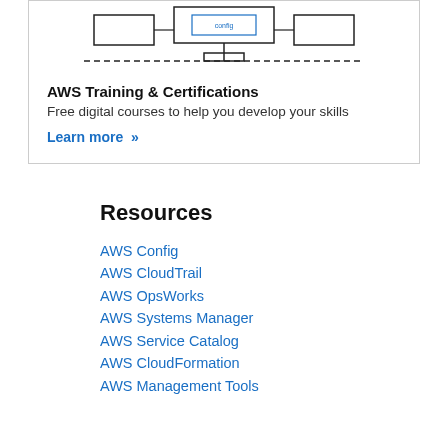[Figure (schematic): AWS architecture diagram showing connected boxes and dashed lines representing cloud infrastructure components]
AWS Training & Certifications
Free digital courses to help you develop your skills
Learn more »
Resources
AWS Config
AWS CloudTrail
AWS OpsWorks
AWS Systems Manager
AWS Service Catalog
AWS CloudFormation
AWS Management Tools